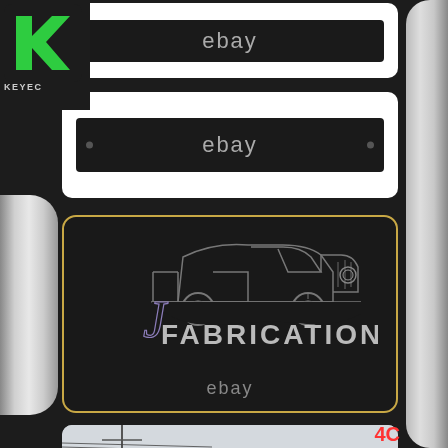[Figure (logo): KEYEC logo with green K letter mark and KEYEC text below]
[Figure (photo): Black rectangular bar/trim piece on white background with eBay watermark]
[Figure (photo): Black rectangular bar/trim piece with two small holes on white background with eBay watermark]
[Figure (logo): JJ Fabrication brand logo featuring a line-art classic truck with J signature script and FABRICATION text, eBay watermark below, on dark background with gold border]
[Figure (photo): Exterior photo of a commercial building/workshop with metal roof and power lines visible]
4C